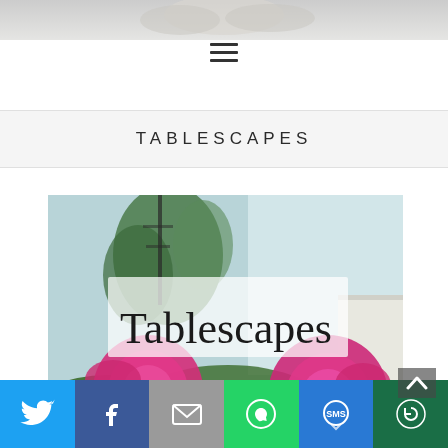[Figure (photo): Top banner photo strip showing decorative image at top of page]
[Figure (infographic): Hamburger menu icon with three horizontal lines]
TABLESCAPES
[Figure (photo): Photo of pink peonies in foreground with green plants and window in background, overlaid with semi-transparent white box containing cursive 'Tablescapes' text]
[Figure (infographic): Social sharing bar at bottom with Twitter, Facebook, Email, WhatsApp, SMS, and More buttons]